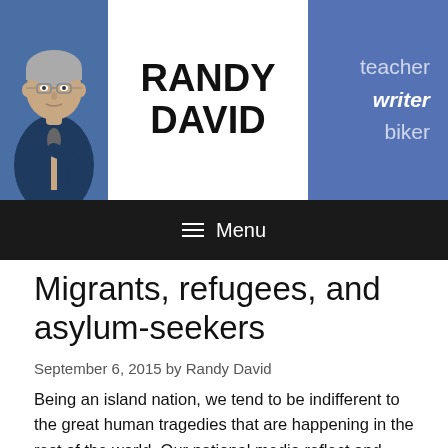[Figure (photo): Website header for Randy David featuring a photo of the author on the left, the name 'RANDY DAVID' in large bold text in the center, and a blue panel on the right with the words 'teacher', 'writer' (bold italic), 'biker' as taglines.]
≡  Menu
Migrants, refugees, and asylum-seekers
September 6, 2015 by Randy David
Being an island nation, we tend to be indifferent to the great human tragedies that are happening in the rest of the world. Our national media reflect and reinforce this insularity. These past few weeks, for